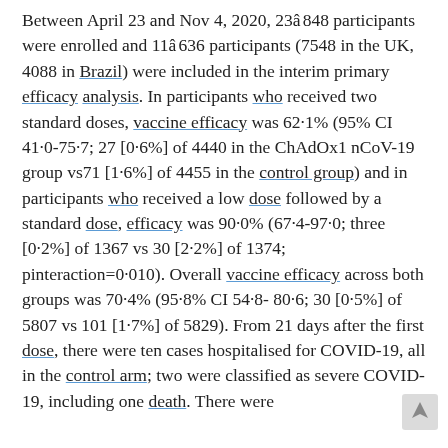Between April 23 and Nov 4, 2020, 23â848 participants were enrolled and 11â636 participants (7548 in the UK, 4088 in Brazil) were included in the interim primary efficacy analysis. In participants who received two standard doses, vaccine efficacy was 62·1% (95% CI 41·0-75·7; 27 [0·6%] of 4440 in the ChAdOx1 nCoV-19 group vs71 [1·6%] of 4455 in the control group) and in participants who received a low dose followed by a standard dose, efficacy was 90·0% (67·4-97·0; three [0·2%] of 1367 vs 30 [2·2%] of 1374; pinteraction=0·010). Overall vaccine efficacy across both groups was 70·4% (95·8% CI 54·8-80·6; 30 [0·5%] of 5807 vs 101 [1·7%] of 5829). From 21 days after the first dose, there were ten cases hospitalised for COVID-19, all in the control arm; two were classified as severe COVID-19, including one death. There were